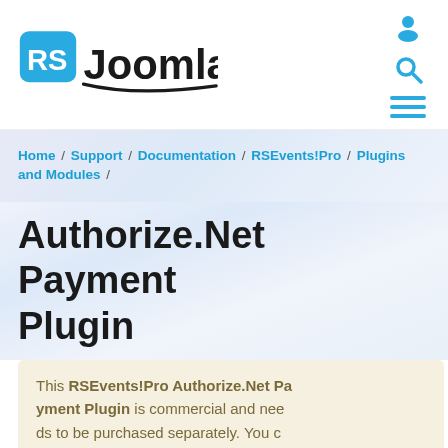[Figure (logo): RSJoomla! logo with blue RS badge and stylized Joomla! wordmark]
Home / Support / Documentation / RSEvents!Pro / Plugins and Modules /
Authorize.Net Payment Plugin
This RSEvents!Pro Authorize.Net Payment Plugin is commercial and needs to be purchased separately. You can buy it by accessing Customer Area > My memberships > Active Members